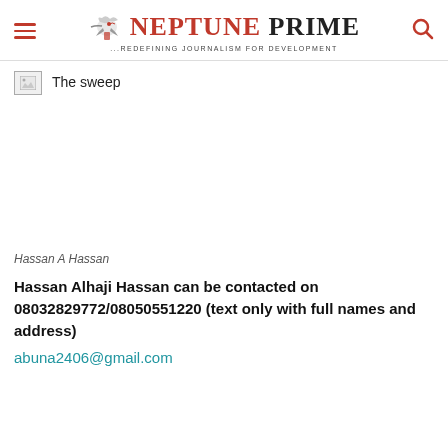NEPTUNE PRIME — Redefining Journalism for Development
[Figure (photo): Broken image placeholder with caption 'The sweep']
The sweep
Hassan A Hassan
Hassan Alhaji Hassan can be contacted on 08032829772/08050551220 (text only with full names and address)
abuna2406@gmail.com